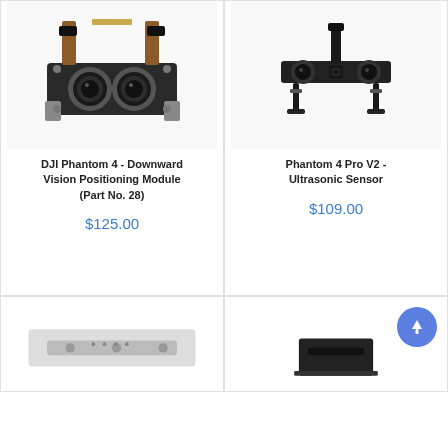[Figure (photo): DJI Phantom 4 Downward Vision Positioning Module - dual lens sensor assembly with flex cables]
DJI Phantom 4 - Downward Vision Positioning Module (Part No. 28)
$125.00
[Figure (photo): Phantom 4 Pro V2 Ultrasonic Sensor - horizontal bar sensor with four legs and flex cables]
Phantom 4 Pro V2 - Ultrasonic Sensor
$109.00
[Figure (photo): Bottom-left product image partially visible]
[Figure (photo): Bottom-right product image partially visible with back-to-top button]